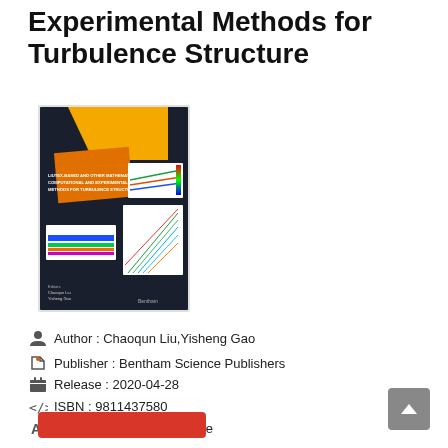Experimental Methods for Turbulence Structure
[Figure (photo): Book cover of 'Liutex-Based and Other Mathematical, Computational and Experimental Methods for Turbulence Structure' edited by Chaoqun Liu and Yisheng Gao, published by Bentham Science Publishers. Cover features orange/yellow geometric shapes and scientific visualizations on a dark background.]
Author : Chaoqun Liu,Yisheng Gao
Publisher : Bentham Science Publishers
Release : 2020-04-28
ISBN : 9811437580
Language : En, Es, Fr & De